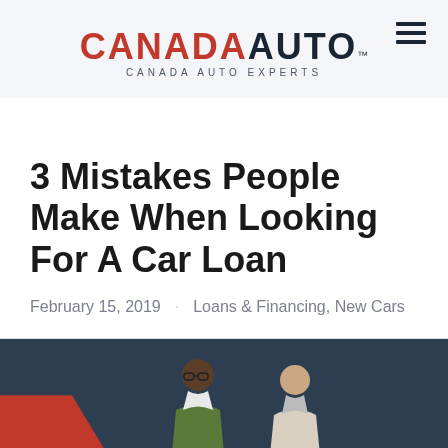[Figure (logo): Canada Auto Experts logo with red CANADA and dark AUTO text, hamburger menu icon top right]
3 Mistakes People Make When Looking For A Car Loan
February 15, 2019  ·  Loans & Financing, New Cars
[Figure (photo): Two men standing, one in a green jacket and glasses, one in a light shirt, against a dark background with a red car element on the left]